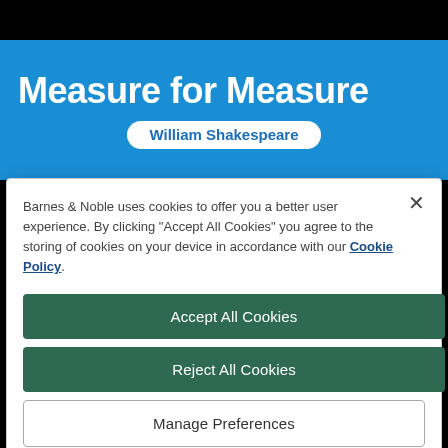Measure for Measure
William Shakespeare
Barnes & Noble uses cookies to offer you a better user experience. By clicking "Accept All Cookies" you agree to the storing of cookies on your device in accordance with our Cookie Policy.
Accept All Cookies
Reject All Cookies
Manage Preferences